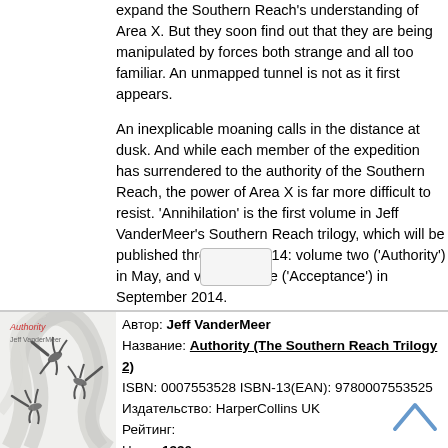expand the Southern Reach's understanding of Area X. But they soon find out that they are being manipulated by forces both strange and all too familiar. An unmapped tunnel is not as it first appears.

An inexplicable moaning calls in the distance at dusk. And while each member of the expedition has surrendered to the authority of the Southern Reach, the power of Area X is far more difficult to resist. 'Annihilation' is the first volume in Jeff VanderMeer's Southern Reach trilogy, which will be published throughout 2014: volume two ('Authority') in May, and volume three ('Acceptance') in September 2014.
[Figure (photo): Book cover of 'Authority' by Jeff VanderMeer showing abstract white swirling forms with dark salamander/lizard silhouettes]
Автор: Jeff VanderMeer
Название: Authority (The Southern Reach Trilogy 2)
ISBN: 0007553528 ISBN-13(EAN): 9780007553525
Издательство: HarperCollins UK
Рейтинг:
Цена: 1330 р.
Наличие на складе: Невозможна